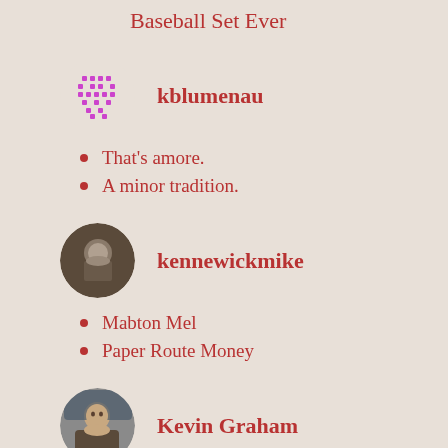Baseball Set Ever
kblumenau
That's amore.
A minor tradition.
kennewickmike
Mabton Mel
Paper Route Money
Kevin Graham
1887 Kalamazoo Bats